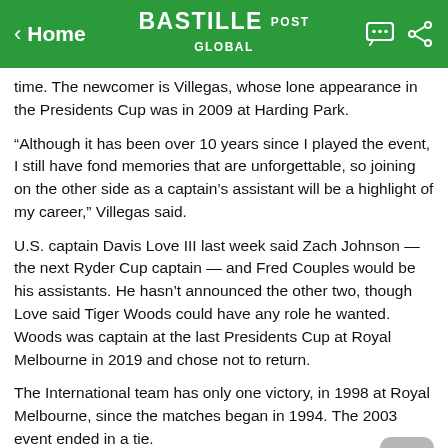< Home | BASTILLE POST GLOBAL
time. The newcomer is Villegas, whose lone appearance in the Presidents Cup was in 2009 at Harding Park.
“Although it has been over 10 years since I played the event, I still have fond memories that are unforgettable, so joining on the other side as a captain’s assistant will be a highlight of my career,” Villegas said.
U.S. captain Davis Love III last week said Zach Johnson — the next Ryder Cup captain — and Fred Couples would be his assistants. He hasn’t announced the other two, though Love said Tiger Woods could have any role he wanted. Woods was captain at the last Presidents Cup at Royal Melbourne in 2019 and chose not to return.
The International team has only one victory, in 1998 at Royal Melbourne, since the matches began in 1994. The 2003 event ended in a tie.
MISSION HILLS REPLACEMENT